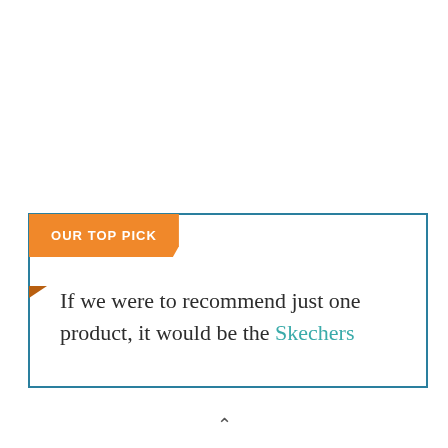OUR TOP PICK
If we were to recommend just one product, it would be the Skechers